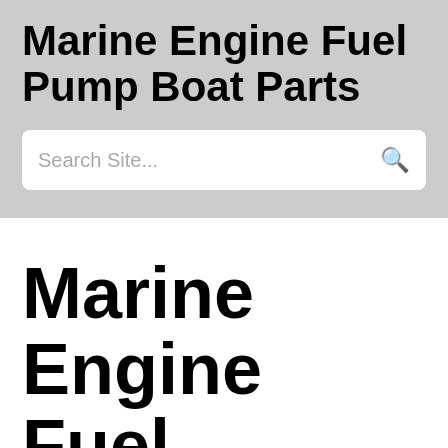Marine Engine Fuel Pump Boat Parts
Search Site...
Marine Engine Fuel